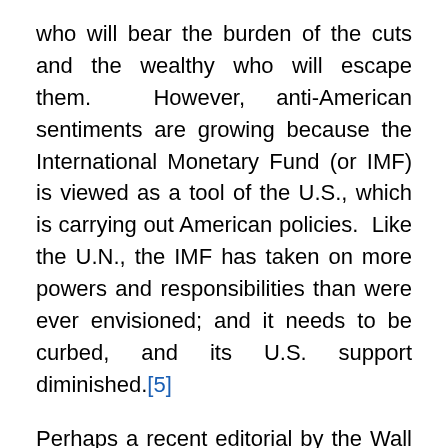who will bear the burden of the cuts and the wealthy who will escape them.  However, anti-American sentiments are growing because the International Monetary Fund (or IMF) is viewed as a tool of the U.S., which is carrying out American policies.  Like the U.N., the IMF has taken on more powers and responsibilities than were ever envisioned; and it needs to be curbed, and its U.S. support diminished.[5]
Perhaps a recent editorial by the Wall Street Journal best captured the “contagion” that began with Greece:
It hasn’t been a week since the terms of Athens’s . . . bailout were set, and already the reviews of this latest Greek drama are saying it’s a flop.  Yesterday the euro sank to its lowest level in a year.  Stock markets across Europe fell nearly 3%, and the carnage spread to Wall